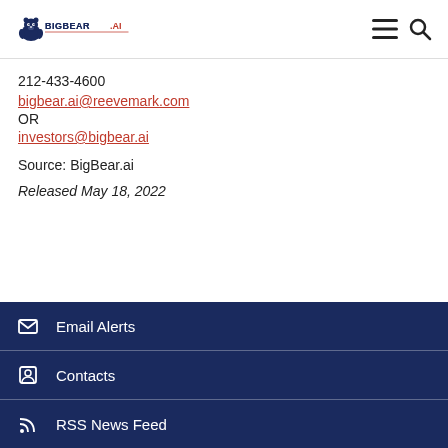[Figure (logo): BigBear.ai logo with bear icon on the left and hamburger menu and search icons on the right]
212-433-4600
bigbear.ai@reevemark.com
OR
investors@bigbear.ai
Source: BigBear.ai
Released May 18, 2022
Email Alerts | Contacts | RSS News Feed